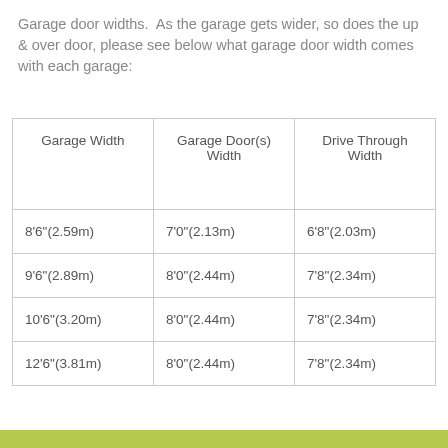Garage door widths. As the garage gets wider, so does the up & over door, please see below what garage door width comes with each garage:
| Garage Width | Garage Door(s) Width | Drive Through Width |
| --- | --- | --- |
| 8'6"(2.59m) | 7'0"(2.13m) | 6'8"(2.03m) |
| 9'6"(2.89m) | 8'0"(2.44m) | 7'8"(2.34m) |
| 10'6"(3.20m) | 8'0"(2.44m) | 7'8"(2.34m) |
| 12'6"(3.81m) | 8'0"(2.44m) | 7'8"(2.34m) |